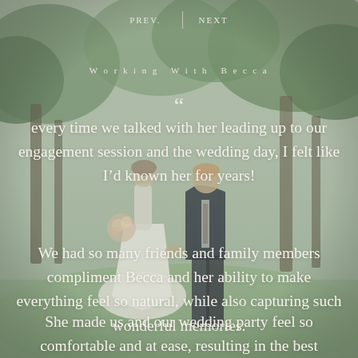[Figure (photo): Wedding couple walking outdoors among trees on a grass lawn. Bride in white dress holding a bouquet, groom in dark suit. Soft natural light, slightly desaturated tones.]
PREV.  |  NEXT
Working With Becca
“ every time we talked with her leading up to our engagement session and the wedding day, I felt like I’d known her for years! We had so many friends and family members compliment Becca and her ability to make everything feel so natural, while also capturing such wonderful memories. She made us and our wedding party feel so comfortable and at ease, resulting in the best